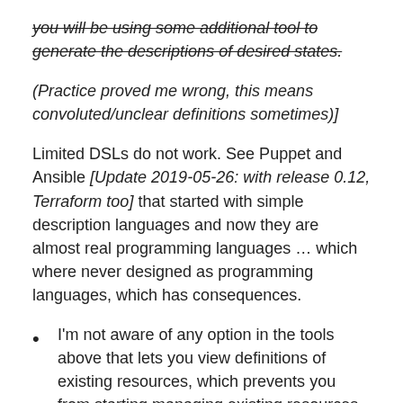you will be using some additional tool to generate the descriptions of desired states. (Practice proved me wrong, this means convoluted/unclear definitions sometimes)] Limited DSLs do not work. See Puppet and Ansible [Update 2019-05-26: with release 0.12, Terraform too] that started with simple description languages and now they are almost real programming languages … which where never designed as programming languages, which has consequences.
I'm not aware of any option in the tools above that lets you view definitions of existing resources, which prevents you from starting managing existing resources with these tools and from cloning existing resources. I have started implementing the functionality that lets you generate the script that would build